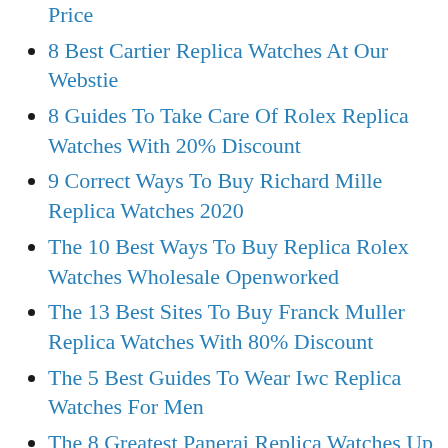Price
8 Best Cartier Replica Watches At Our Webstie
8 Guides To Take Care Of Rolex Replica Watches With 20% Discount
9 Correct Ways To Buy Richard Mille Replica Watches 2020
The 10 Best Ways To Buy Replica Rolex Watches Wholesale Openworked
The 13 Best Sites To Buy Franck Muller Replica Watches With 80% Discount
The 5 Best Guides To Wear Iwc Replica Watches For Men
The 8 Greatest Panerai Replica Watches Up To 90% Off
The 8 Most Expensive Luxury Replica